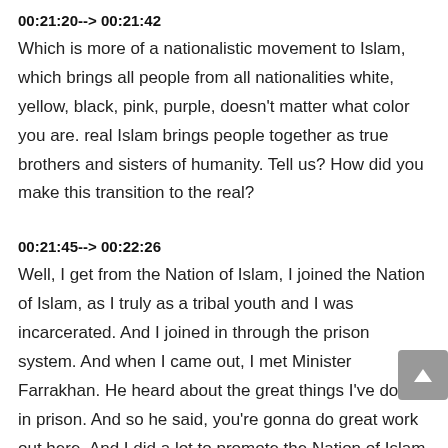00:21:20--> 00:21:42
Which is more of a nationalistic movement to Islam, which brings all people from all nationalities white, yellow, black, pink, purple, doesn't matter what color you are. real Islam brings people together as true brothers and sisters of humanity. Tell us? How did you make this transition to the real?
00:21:45--> 00:22:26
Well, I get from the Nation of Islam, I joined the Nation of Islam, as I truly as a tribal youth and I was incarcerated. And I joined in through the prison system. And when I came out, I met Minister Farrakhan. He heard about the great things I've done in prison. And so he said, you're gonna do great work out here. And I did a lot to promote the Nation of Islam that was a lieutenant and in a snowstorm, which is, I was fly first was the name of the military, training them in the fruit of